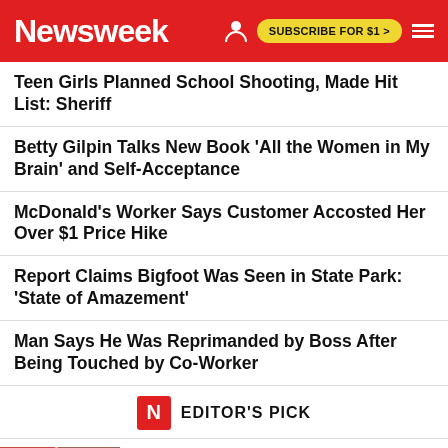Newsweek | SUBSCRIBE FOR $1 >
Teen Girls Planned School Shooting, Made Hit List: Sheriff
Betty Gilpin Talks New Book 'All the Women in My Brain' and Self-Acceptance
McDonald's Worker Says Customer Accosted Her Over $1 Price Hike
Report Claims Bigfoot Was Seen in State Park: 'State of Amazement'
Man Says He Was Reprimanded by Boss After Being Touched by Co-Worker
N EDITOR'S PICK
WHITE HOUSE